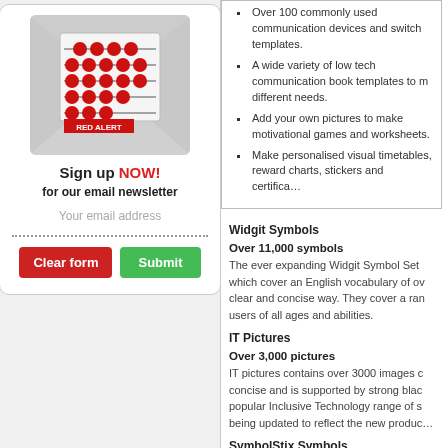[Figure (illustration): Red abacus graphic with 'RED ALERT' text at bottom, on a light grey envelope background]
Sign up NOW! for our email newsletter
Your email address
Clear form
Submit
Over 100 commonly used communication devices and switch templates.
A wide variety of low tech communication book templates to meet different needs.
Add your own pictures to make motivational games and worksheets.
Make personalised visual timetables, reward charts, stickers and certificates.
Widgit Symbols
Over 11,000 symbols
The ever expanding Widgit Symbol Set which cover an English vocabulary of over clear and concise way. They cover a range of users of all ages and abilities.
IT Pictures
Over 3,000 pictures
IT pictures contains over 3000 images concise and is supported by strong black popular Inclusive Technology range of s being updated to reflect the new products.
SymbolStix Symbols